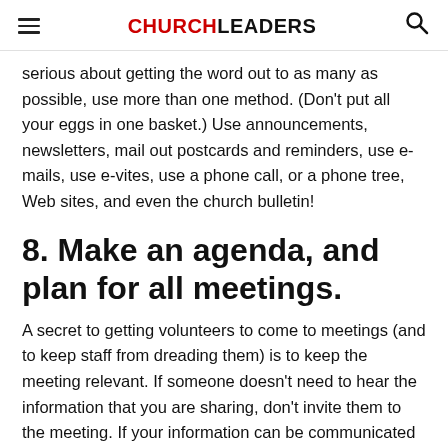CHURCHLEADERS
serious about getting the word out to as many as possible, use more than one method. (Don't put all your eggs in one basket.) Use announcements, newsletters, mail out postcards and reminders, use e-mails, use e-vites, use a phone call, or a phone tree, Web sites, and even the church bulletin!
8. Make an agenda, and plan for all meetings.
A secret to getting volunteers to come to meetings (and to keep staff from dreading them) is to keep the meeting relevant. If someone doesn't need to hear the information that you are sharing, don't invite them to the meeting. If your information can be communicated in another form other